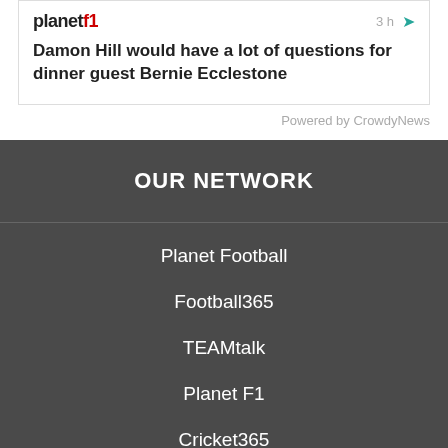planet f1  3 h  [share]
Damon Hill would have a lot of questions for dinner guest Bernie Ecclestone
Powered by CrowdyNews
OUR NETWORK
Planet Football
Football365
TEAMtalk
Planet F1
Cricket365
Tennis365
Golf365
Love Rugby League